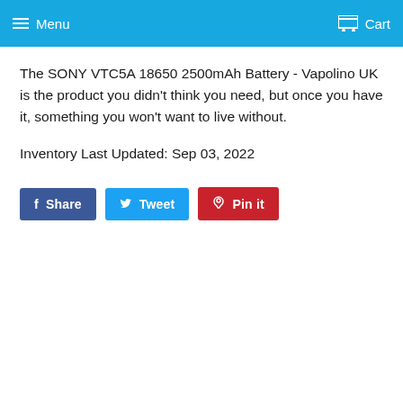Menu   Cart
The SONY VTC5A 18650 2500mAh Battery - Vapolino UK is the product you didn't think you need, but once you have it, something you won't want to live without.
Inventory Last Updated: Sep 03, 2022
[Figure (other): Social share buttons: Share (Facebook, dark blue), Tweet (Twitter, light blue), Pin it (Pinterest, red)]